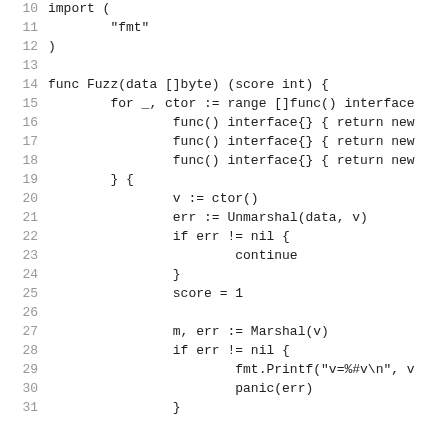10  import (
11          "fmt"
12  )
13
14  func Fuzz(data []byte) (score int) {
15          for _, ctor := range []func() interface
16                  func() interface{} { return new
17                  func() interface{} { return new
18                  func() interface{} { return new
19          } {
20                  v := ctor()
21                  err := Unmarshal(data, v)
22                  if err != nil {
23                          continue
24                  }
25                  score = 1
26
27                  m, err := Marshal(v)
28                  if err != nil {
29                          fmt.Printf("v=%#v\n", v
30                          panic(err)
31                  }